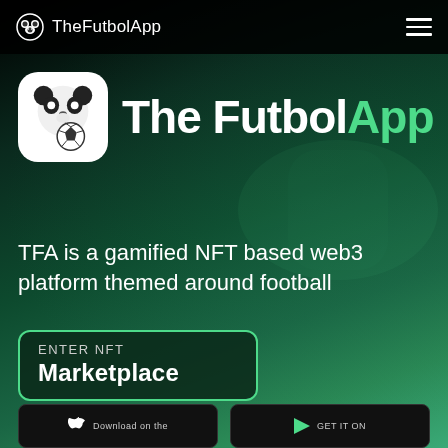TheFutbolApp
[Figure (logo): TheFutbolApp panda logo with soccer ball, white rounded square icon]
The FutbolApp
TFA is a gamified NFT based web3 platform themed around football
ENTER NFT
Marketplace
Download on the
GET IT ON